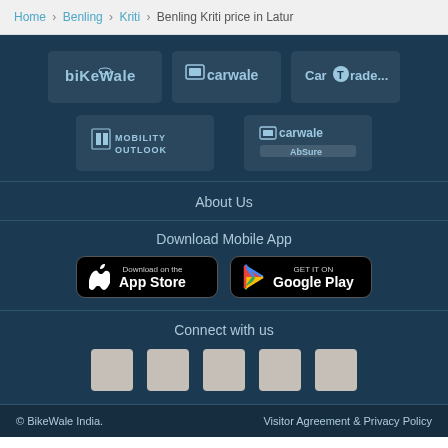Home > Benling > Kriti > Benling Kriti price in Latur
[Figure (logo): BikeWale logo]
[Figure (logo): CarWale logo]
[Figure (logo): CarTrade logo]
[Figure (logo): Mobility Outlook logo]
[Figure (logo): CarWale AbSure logo]
About Us
Download Mobile App
[Figure (screenshot): Download on the App Store button]
[Figure (screenshot): Get it on Google Play button]
Connect with us
[Figure (other): Social media icons: 5 placeholder squares]
© BikeWale India.    Visitor Agreement & Privacy Policy